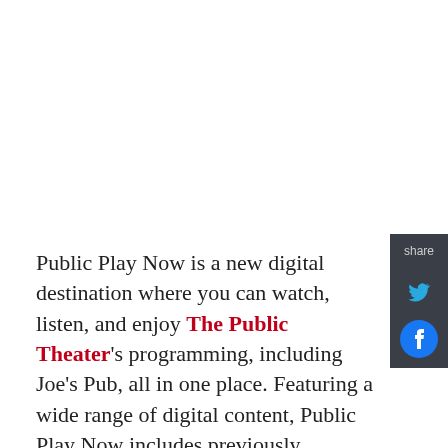[Figure (other): Share sidebar with Twitter and Facebook icons on dark gray background]
Public Play Now is a new digital destination where you can watch, listen, and enjoy The Public Theater's programming, including Joe's Pub, all in one place. Featuring a wide range of digital content, Public Play Now includes previously released audio plays like shadow/land, Romeo y Julieta, Shipwreck, and Richard II; exciting Joe's Pub Concerts; Public Forum civic discussions and panels; the Public